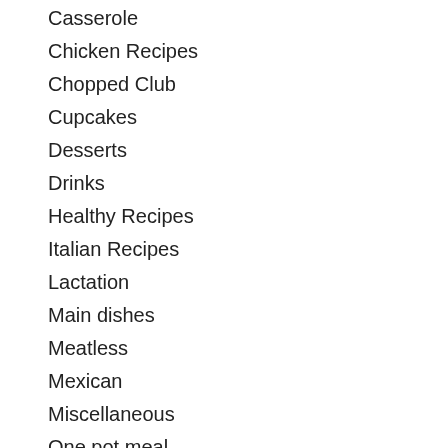Casserole
Chicken Recipes
Chopped Club
Cupcakes
Desserts
Drinks
Healthy Recipes
Italian Recipes
Lactation
Main dishes
Meatless
Mexican
Miscellaneous
One pot meal
Pasta
Recipe Compilations
Salads
Sandiwches